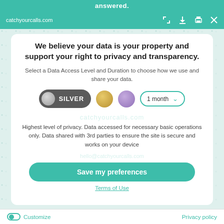answered.
catchyourcalls.com
We believe your data is your property and support your right to privacy and transparency.
Select a Data Access Level and Duration to choose how we use and share your data.
[Figure (other): Privacy level selector showing SILVER toggle button, gold circle, purple circle, and a '1 month' dropdown selector]
Highest level of privacy. Data accessed for necessary basic operations only. Data shared with 3rd parties to ensure the site is secure and works on your device
Save my preferences
Terms of Use
Customize
Privacy policy